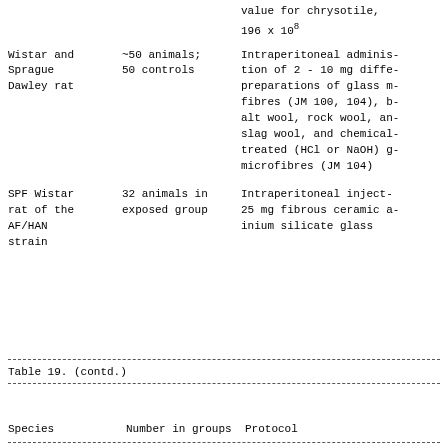| Species | Number in groups | Protocol |
| --- | --- | --- |
|  |  | value for chrysotile,
196 x 10⁸ |
| Wistar and
Sprague
Dawley rat | ~50 animals;
50 controls | Intraperitoneal adminis-
tion of 2 - 10 mg diffe-
preparations of glass m-
fibres (JM 100, 104), b-
alt wool, rock wool, an-
slag wool, and chemical-
treated (HCl or NaOH) g-
microfibres (JM 104) |
| SPF Wistar
rat of the
AF/HAN
strain | 32 animals in
exposed group | Intraperitoneal inject-
25 mg fibrous ceramic a-
inium silicate glass |
Table 19.  (contd.)
| Species | Number in groups | Protocol |
| --- | --- | --- |